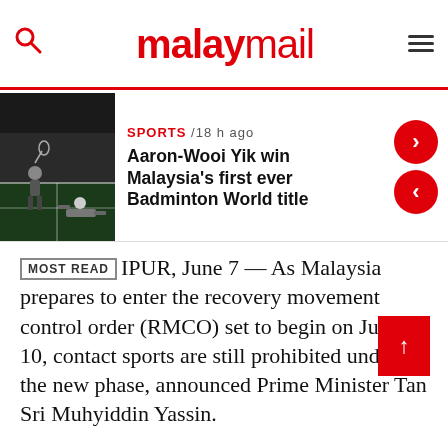malaymail
[Figure (photo): Badminton players on court, one lying on the ground]
SPORTS / 18 h ago
Aaron-Wooi Yik win Malaysia's first ever Badminton World title
MOST READ IPUR, June 7 — As Malaysia prepares to enter the recovery movement control order (RMCO) set to begin on June 10, contact sports are still prohibited under the new phase, announced Prime Minister Tan Sri Muhyiddin Yassin.
In a special televised broadcast today, Muhyiddin announced that the government will loosen restrictions within the sporting sector, albeit with strict standard operating procedures (SOP).
However, contact sports such as rugby, football and hockey, among others, are still prohibited, said Muhyiddin.